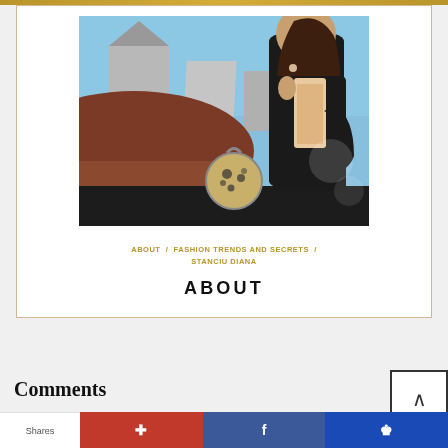[Figure (photo): Fashion photo of a young woman in a black blazer with a round spotted handbag, posing on a rooftop with European buildings and blue sky in the background]
ABOUT / FASHION TRENDS AND SECRETS / STANCIU DIANA
ABOUT
Comments
Shares